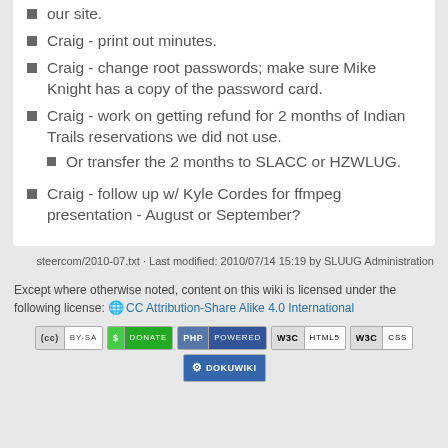our site.
Craig - print out minutes.
Craig - change root passwords; make sure Mike Knight has a copy of the password card.
Craig - work on getting refund for 2 months of Indian Trails reservations we did not use.
Or transfer the 2 months to SLACC or HZWLUG.
Craig - follow up w/ Kyle Cordes for ffmpeg presentation - August or September?
steercom/2010-07.txt · Last modified: 2010/07/14 15:19 by SLUUG Administration
Except where otherwise noted, content on this wiki is licensed under the following license: CC Attribution-Share Alike 4.0 International